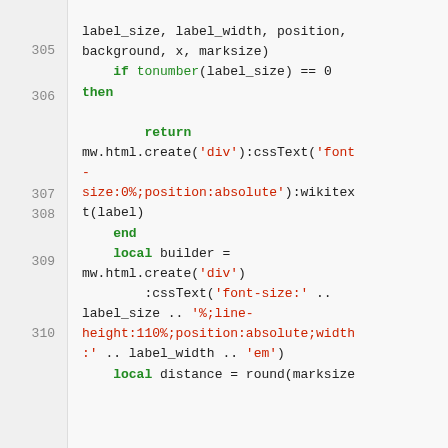[Figure (screenshot): Code snippet showing Lua source code lines 305-310 with line numbers on left, syntax highlighting (keywords in bold green, string literals in red), on a light gray background.]